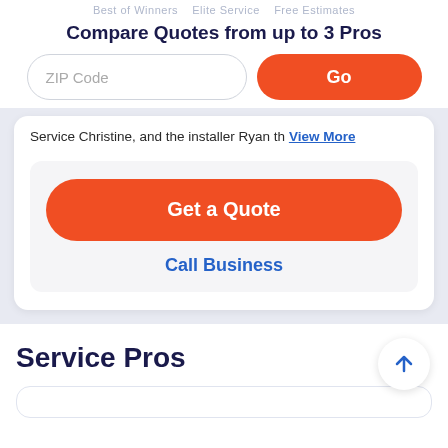Best of Winners   Elite Service   Free Estimates
Compare Quotes from up to 3 Pros
ZIP Code
Go
Service Christine, and the installer Ryan th   View More
Get a Quote
Call Business
Service Pros